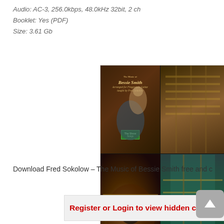Audio: AC-3, 256.0kbps, 48.0kHz 32bit, 2 ch
Booklet: Yes (PDF)
Size: 3.61 Gb
[Figure (photo): Collage of four images: top-left shows text 'The Music of Bessie Smith arranged for Fingerstyle Guitar taught by Fred Sokolow' with two people; top-right shows guitar fretboard close-up; bottom-left shows hands playing guitar; bottom-right shows guitar neck. Caption: Fred Sokolow – The Music of Bessie Smith]
Fred Sokolow – The Music of Bessie Smith
Download Fred Sokolow – The Music of Bessie Smith free and c
Register or Login to view hidden co